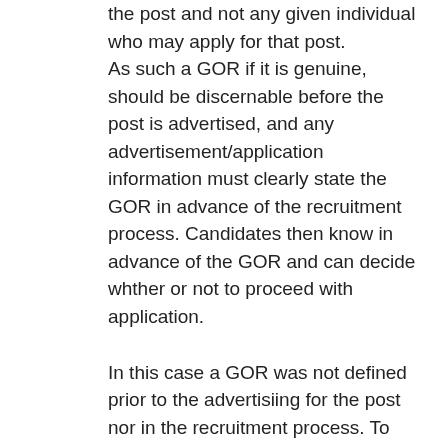the post and not any given individual who may apply for that post. As such a GOR if it is genuine, should be discernable before the post is advertised, and any advertisement/application information must clearly state the GOR in advance of the recruitment process. Candidates then know in advance of the GOR and can decide whther or not to proceed with application.
In this case a GOR was not defined prior to the advertisiing for the post nor in the recruitment process. To have introduced a subsidiary questionning with regard to sexuality following a unanimous reccomendation by the appointment panel is therefore discriminatory and falls foul of the legislation.